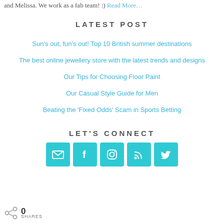and Melissa. We work as a fab team! :) Read More…
LATEST POST
Sun's out, fun's out! Top 10 British summer destinations
The best online jewellery store with the latest trends and designs
Our Tips for Choosing Floor Paint
Our Casual Style Guide for Men
Beating the 'Fixed Odds' Scam in Sports Betting
LET'S CONNECT
[Figure (infographic): Five social media icon buttons (email, Facebook, Instagram, RSS, Twitter) in teal/cyan color]
0 SHARES